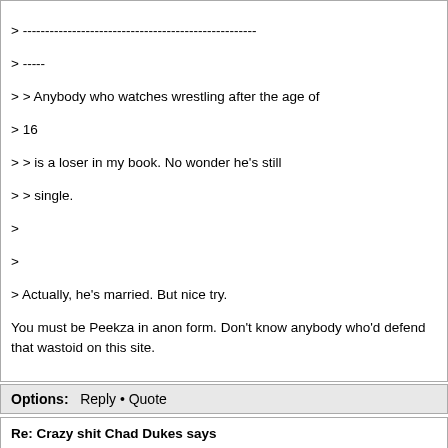> ----------------------------------------------------
> -----
> > Anybody who watches wrestling after the age of 16
> > is a loser in my book. No wonder he's still
> > single.
>
>
> Actually, he's married. But nice try.

You must be Peekza in anon form. Don't know anybody who'd defend that wastoid on this site.
Options: Reply • Quote
Re: Crazy shit Chad Dukes says
Posted by: Piikza ()
Date: July 16, 2014 02:30PM

Prudence Shaftley Wrote:
----------------------------------------------------
> Arlington FTW Wrote:
> ----------------------------------------------------
> -----
>
> > "My dick becomes gorged with blood as i smash
> > cities. I love to destroy using my giant cock,
> > shoving it through buildings and perhaps
> smashing
> > entire cities with it. I shove small people
> down